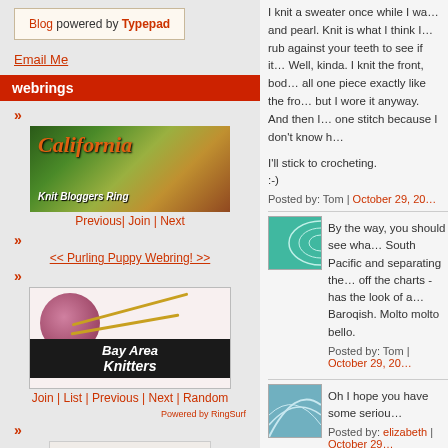Blog powered by Typepad
Email Me
webrings
[Figure (illustration): California Knit Bloggers Ring banner image]
Previous | Join | Next
<< Purling Puppy Webring! >>
[Figure (illustration): Bay Area Knitters webring banner with yarn ball and needles]
Join | List | Previous | Next | Random
Powered by RingSurf
[Figure (illustration): Knitting kitty webring image with cat sketch]
Previous | Next
[Figure (illustration): Small icon image]
I knit a sweater once while I wa... and pearl. Knit is what I think I... rub against your teeth to see if it... Well, kinda. I knit the front, bod... all one piece exactly like the fro... but I wore it anyway. And then I... one stitch because I don't know h...
I'll stick to crocheting.
:-)
Posted by: Tom | October 29, 20...
[Figure (illustration): Teal textile/knitting thumbnail image]
By the way, you should see wha... South Pacific and separating the... off the charts - has the look of a... Baroqish. Molto molto bello.
Posted by: Tom | October 29, 20...
[Figure (illustration): Blue-teal textile thumbnail image]
Oh I hope you have some seriou...
Posted by: elizabeth | October 29...
[Figure (illustration): Teal knitting pattern thumbnail image]
Hope you had a good time. I wa... think I will be able to resist any
Posted by: CarolineF | October 3...
The comments to this entry are closed.